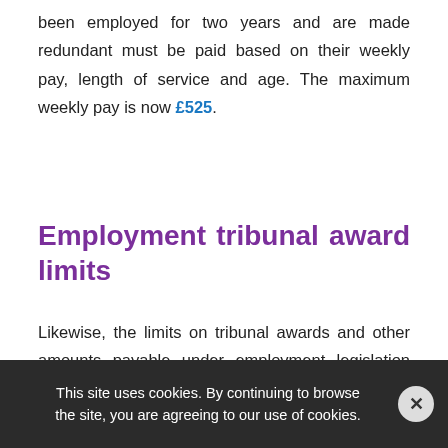been employed for two years and are made redundant must be paid based on their weekly pay, length of service and age. The maximum weekly pay is now £525.
Employment tribunal award limits
Likewise, the limits on tribunal awards and other amounts payable under employment legislation has increased. The maximum amount of a week's pay for calculating the basic award for unfair dismissal is now £525, and the maximum amount
This site uses cookies. By continuing to browse the site, you are agreeing to our use of cookies.